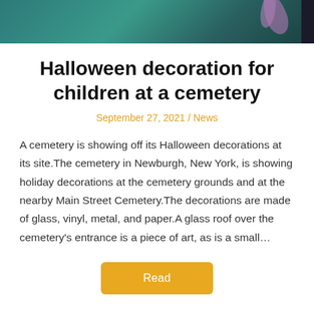[Figure (photo): Top portion of a photo showing Halloween decorations, teal/dark green background with purple flower-like decorations and a dark stripe on the right edge.]
Halloween decoration for children at a cemetery
September 27, 2021 / News
A cemetery is showing off its Halloween decorations at its site.The cemetery in Newburgh, New York, is showing holiday decorations at the cemetery grounds and at the nearby Main Street Cemetery.The decorations are made of glass, vinyl, metal, and paper.A glass roof over the cemetery's entrance is a piece of art, as is a small…
Read